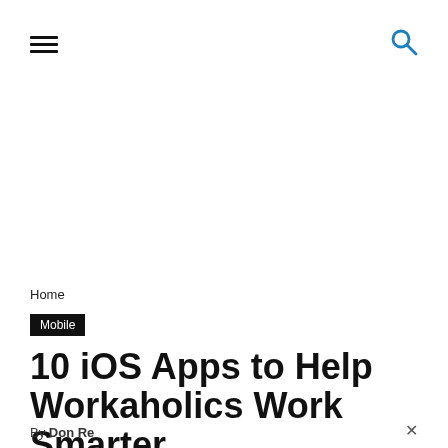[Figure (screenshot): Navigation bar with hamburger menu icon on the left and blue search icon on the right]
Home
Mobile
10 iOS Apps to Help Workaholics Work Smarter
By Don Re